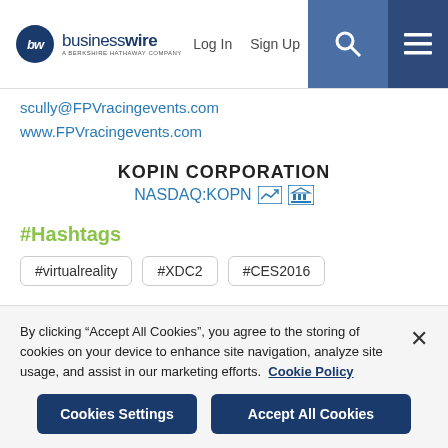businesswire — A BERKSHIRE HATHAWAY COMPANY | Log In | Sign Up
scully@FPVracingevents.com
www.FPVracingevents.com
KOPIN CORPORATION
NASDAQ:KOPN
#Hashtags
#virtualreality
#XDC2
#CES2016
Release Versions
By clicking “Accept All Cookies”, you agree to the storing of cookies on your device to enhance site navigation, analyze site usage, and assist in our marketing efforts.  Cookie Policy
Cookies Settings
Accept All Cookies